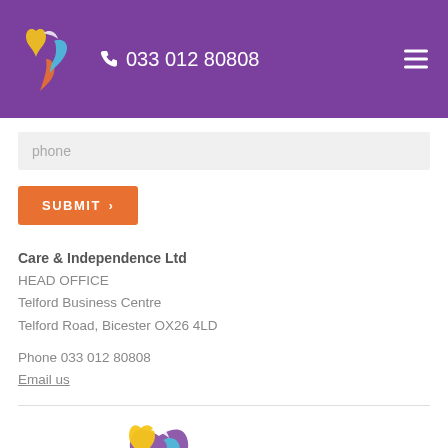Care & Independence Ltd — 033 012 80808
phone
SUBMIT
Care & Independence Ltd
HEAD OFFICE
Telford Business Centre
Telford Road, Bicester OX26 4LD

Phone 033 012 80808
Email us
[Figure (logo): Care & Independence Ltd logo with multicolored heart and 'improving lives' text]